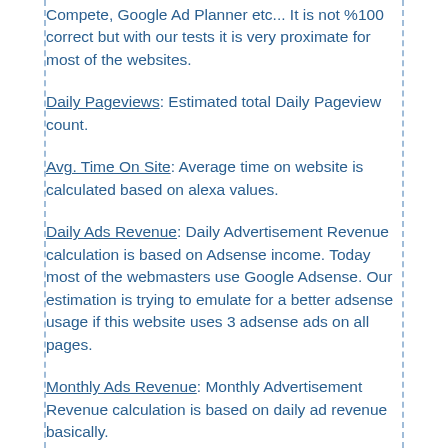Compete, Google Ad Planner etc... It is not %100 correct but with our tests it is very proximate for most of the websites.
Daily Pageviews: Estimated total Daily Pageview count.
Avg. Time On Site: Average time on website is calculated based on alexa values.
Daily Ads Revenue: Daily Advertisement Revenue calculation is based on Adsense income. Today most of the webmasters use Google Adsense. Our estimation is trying to emulate for a better adsense usage if this website uses 3 adsense ads on all pages.
Monthly Ads Revenue: Monthly Advertisement Revenue calculation is based on daily ad revenue basically.